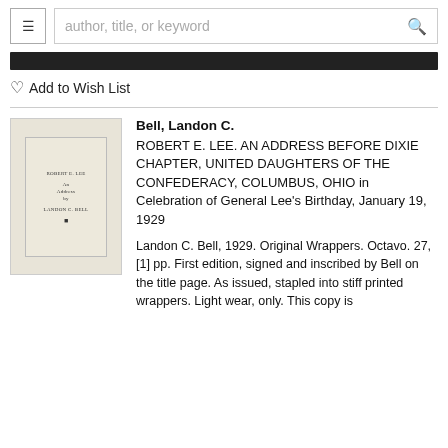≡  author, title, or keyword  🔍
♡ Add to Wish List
[Figure (photo): Photo of a cream/beige book cover with small text reading ROBERT E. LEE and LANDON C. BELL]
Bell, Landon C.
ROBERT E. LEE. AN ADDRESS BEFORE DIXIE CHAPTER, UNITED DAUGHTERS OF THE CONFEDERACY, COLUMBUS, OHIO in Celebration of General Lee's Birthday, January 19, 1929
Landon C. Bell, 1929. Original Wrappers. Octavo. 27, [1] pp. First edition, signed and inscribed by Bell on the title page. As issued, stapled into stiff printed wrappers. Light wear, only. This copy is